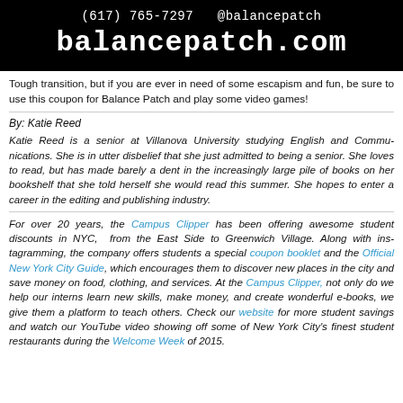(617) 765-7297  @balancepatch
balancepatch.com
Tough transition, but if you are ever in need of some escapism and fun, be sure to use this coupon for Balance Patch and play some video games!
By: Katie Reed
Katie Reed is a senior at Villanova University studying English and Communications. She is in utter disbelief that she just admitted to being a senior. She loves to read, but has made barely a dent in the increasingly large pile of books on her bookshelf that she told herself she would read this summer. She hopes to enter a career in the editing and publishing industry.
For over 20 years, the Campus Clipper has been offering awesome student discounts in NYC, from the East Side to Greenwich Village. Along with instagramming, the company offers students a special coupon booklet and the Official New York City Guide, which encourages them to discover new places in the city and save money on food, clothing, and services. At the Campus Clipper, not only do we help our interns learn new skills, make money, and create wonderful e-books, we give them a platform to teach others. Check our website for more student savings and watch our YouTube video showing off some of New York City's finest student restaurants during the Welcome Week of 2015.